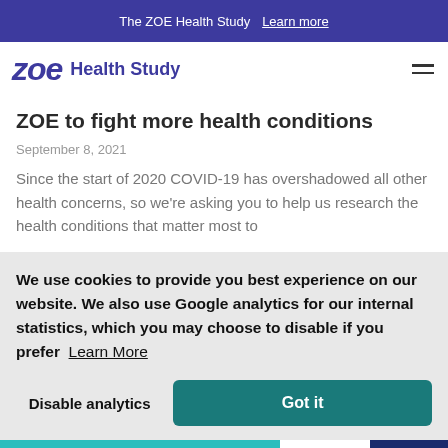The ZOE Health Study  Learn more
ZOE to fight more health conditions
September 8, 2021
Since the start of 2020 COVID-19 has overshadowed all other health concerns, so we're asking you to help us research the health conditions that matter most to
We use cookies to provide you best experience on our website. We also use Google analytics for our internal statistics, which you may choose to disable if you prefer  Learn More
Disable analytics
Got it